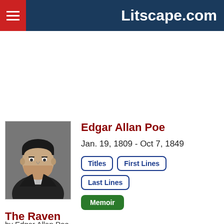Litscape.com
[Figure (photo): Black and white portrait photograph of Edgar Allan Poe]
Edgar Allan Poe
Jan. 19, 1809 - Oct 7, 1849
Titles | First Lines | Last Lines | Memoir
The Raven
by Edgar Allan Poe